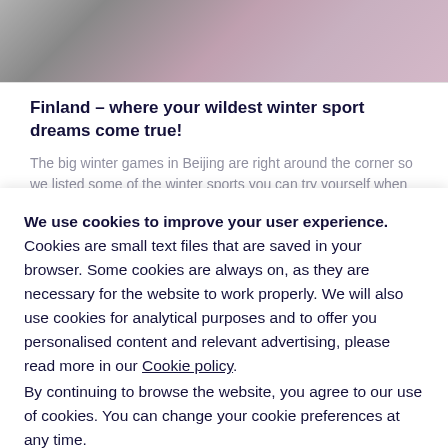[Figure (photo): Gradient banner image with gray and pink/mauve tones at the top of the page]
Finland – where your wildest winter sport dreams come true!
The big winter games in Beijing are right around the corner so we listed some of the winter sports you can try yourself when
We use cookies to improve your user experience. Cookies are small text files that are saved in your browser. Some cookies are always on, as they are necessary for the website to work properly. We will also use cookies for analytical purposes and to offer you personalised content and relevant advertising, please read more in our Cookie policy.
By continuing to browse the website, you agree to our use of cookies. You can change your cookie preferences at any time.
Close
Set your cookie preferences